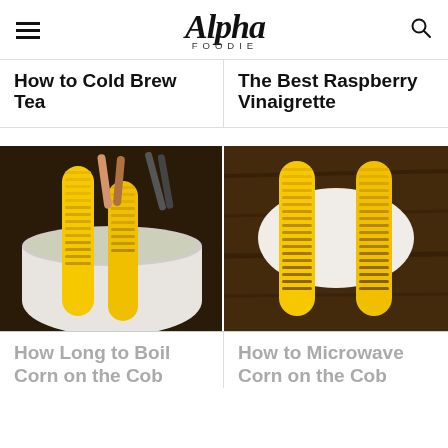Alpha Foodie
How to Cold Brew Tea
The Best Raspberry Vinaigrette
[Figure (photo): Corn on the cob being handled with tongs in a white bowl of water]
[Figure (photo): Two ears of corn on the cob on white parchment on a dark wooden surface]
How Long to Boil Corn on the Cob
How to Microwave Corn on the Cob